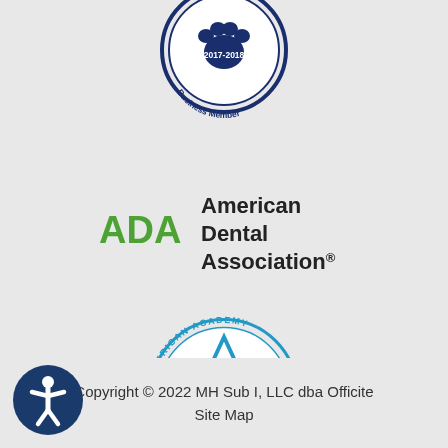[Figure (logo): Circular blue stamp logo with a paw print in the center, text reading 'Business Member' along the bottom arc and partial text at the top, with '2017-2018' inside. Dark navy blue color.]
[Figure (logo): ADA American Dental Association logo. 'ADA' in green bold text on the left, 'American Dental Association®' in dark gray/black text on the right in three lines.]
[Figure (logo): American Academy of Pediatric Dentistry circular seal logo in blue. Features a triangle/mountain icon with wave lines inside, surrounded by circular text 'AMERICAN ACADEMY OF PEDIATRIC DENTISTRY'.]
Copyright © 2022 MH Sub I, LLC dba Officite
Site Map
[Figure (logo): Circular accessibility icon - dark navy blue circle with white figure of a person with arms outstretched (wheelchair accessibility symbol).]